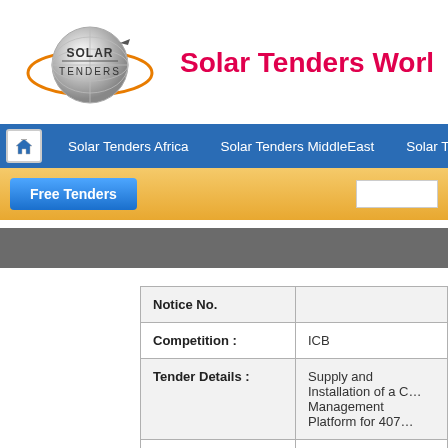[Figure (logo): Solar Tenders logo with globe and orange orbit ring]
Solar Tenders Worl…
Solar Tenders Africa   Solar Tenders MiddleEast   Solar T…
Free Tenders
| Field | Value |
| --- | --- |
| Notice No. |  |
| Competition : | ICB |
| Tender Details : | Supply and Installation of a C… Management Platform for 407… |
| Deadline : | 29-Jun-2022 |